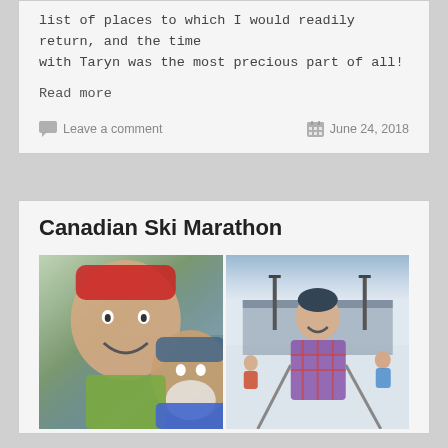list of places to which I would readily return, and the time with Taryn was the most precious part of all!
Read more
Leave a comment
June 24, 2018
Canadian Ski Marathon
[Figure (photo): Two people taking a selfie outdoors in a snowy winter forest setting, both wearing winter hats and outdoor gear. One person is smiling broadly with frozen beard.]
[Figure (photo): A man standing on a snowy ski course holding poles, wearing a plaid shirt and winter hat, with other skiers and a building visible in the background.]